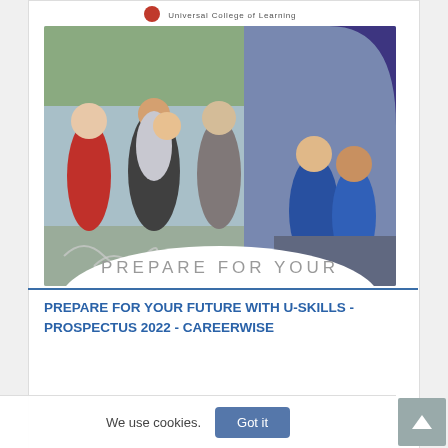[Figure (photo): Screenshot of a webpage for Universal College of Learning (UCOL) showing a collage photo of students outdoors and mechanics/engineering students in blue coveralls, with a purple decorative shape top right and decorative swirl pattern. Text 'PREPARE FOR YOUR' overlaid at the bottom of the image.]
PREPARE FOR YOUR FUTURE WITH U-SKILLS - PROSPECTUS 2022 - CAREERWISE
We use cookies.
Got it